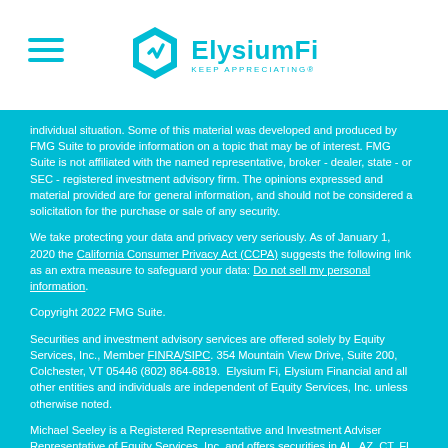ElysiumFi — KEEP APPRECIATING
individual situation. Some of this material was developed and produced by FMG Suite to provide information on a topic that may be of interest. FMG Suite is not affiliated with the named representative, broker - dealer, state - or SEC - registered investment advisory firm. The opinions expressed and material provided are for general information, and should not be considered a solicitation for the purchase or sale of any security.
We take protecting your data and privacy very seriously. As of January 1, 2020 the California Consumer Privacy Act (CCPA) suggests the following link as an extra measure to safeguard your data: Do not sell my personal information.
Copyright 2022 FMG Suite.
Securities and investment advisory services are offered solely by Equity Services, Inc., Member FINRA/SIPC. 354 Mountain View Drive, Suite 200, Colchester, VT 05446 (802) 864-6819. Elysium Fi, Elysium Financial and all other entities and individuals are independent of Equity Services, Inc. unless otherwise noted.
Michael Seeley is a Registered Representative and Investment Adviser Representative of Equity Services, Inc. and offers securities in AL, AZ, CT, FL, IN, ME, MA, NJ, NY, SC, VT and VA. Michael is insurance-licensed in NY, FL, SC, VT, MA, CT, NH, PA and TX and he has met the education requirement of the State of NY to sell the New York Partnership Long-Term Care policies. TC119172(0121)